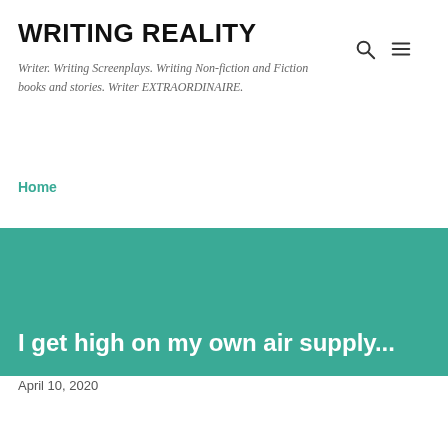WRITING REALITY
Writer. Writing Screenplays. Writing Non-fiction and Fiction books and stories. Writer EXTRAORDINAIRE.
Home
I get high on my own air supply...
April 10, 2020